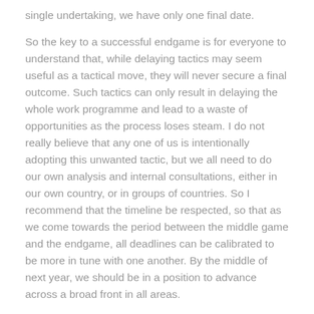single undertaking, we have only one final date. So the key to a successful endgame is for everyone to understand that, while delaying tactics may seem useful as a tactical move, they will never secure a final outcome. Such tactics can only result in delaying the whole work programme and lead to a waste of opportunities as the process loses steam. I do not really believe that any one of us is intentionally adopting this unwanted tactic, but we all need to do our own analysis and internal consultations, either in our own country, or in groups of countries. So I recommend that the timeline be respected, so that as we come towards the period between the middle game and the endgame, all deadlines can be calibrated to be more in tune with one another. By the middle of next year, we should be in a position to advance across a broad front in all areas.